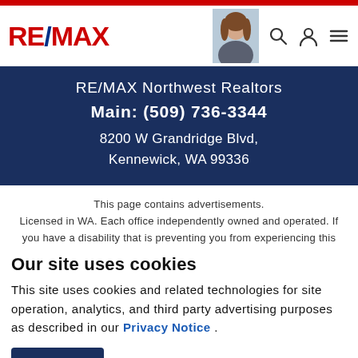[Figure (logo): RE/MAX logo in red and blue]
[Figure (photo): Female real estate agent headshot photo]
RE/MAX Northwest Realtors
Main: (509) 736-3344
8200 W Grandridge Blvd,
Kennewick, WA 99336
This page contains advertisements.
Licensed in WA. Each office independently owned and operated. If you have a disability that is preventing you from experiencing this
Our site uses cookies
This site uses cookies and related technologies for site operation, analytics, and third party advertising purposes as described in our Privacy Notice .
ACCEPT